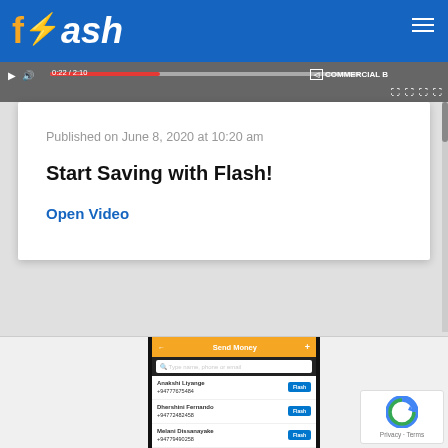flash
[Figure (screenshot): Video player strip showing a red progress bar, timestamp, and COMMERCIAL badge on the right]
Published on June 8, 2020 at 10:20 am
Start Saving with Flash!
Open Video
[Figure (screenshot): Mobile app screenshot showing Send Money screen with contacts: Anakshi Liyange +94777675484, Dhershini Fernando +94772482458, Melani Dissanayake +94779490258, Nalin Wijewardena +94776259453, Zara De Silva +94779753951, each with a Flash button]